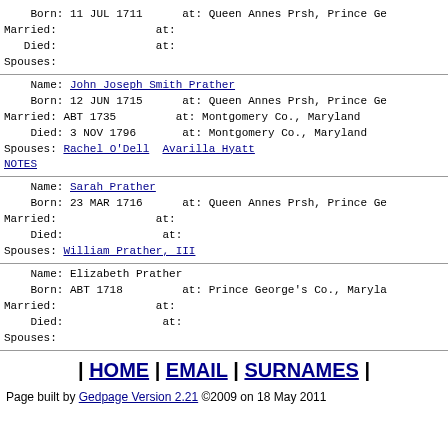Born: 11 JUL 1711  at: Queen Annes Prsh, Prince Ge
Married:            at:
  Died:             at:
Spouses:
Name: John Joseph Smith Prather
Born: 12 JUN 1715  at: Queen Annes Prsh, Prince Ge
Married: ABT 1735  at: Montgomery Co., Maryland
  Died: 3 NOV 1796 at: Montgomery Co., Maryland
Spouses: Rachel O'Dell  Avarilla Hyatt
NOTES
Name: Sarah Prather
Born: 23 MAR 1716  at: Queen Annes Prsh, Prince Ge
Married:            at:
  Died:             at:
Spouses: William Prather, III
Name: Elizabeth Prather
Born: ABT 1718  at: Prince George's Co., Maryla
Married:         at:
  Died:           at:
Spouses:
| HOME | EMAIL | SURNAMES |
Page built by Gedpage Version 2.21 ©2009 on 18 May 2011